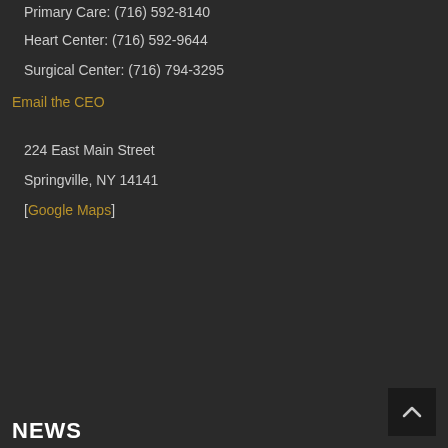Primary Care: (716) 592-8140
Heart Center: (716) 592-9644
Surgical Center: (716) 794-3295
Email the CEO
224 East Main Street
Springville, NY 14141
[Google Maps]
NEWS